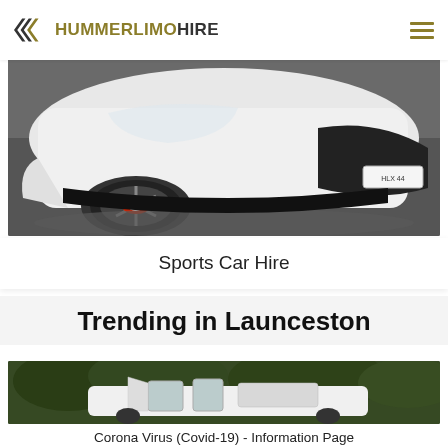HUMMERLIMOHIRE
[Figure (photo): Front view of a white sports car (Audi R8) parked on wet pavement, showing wheel with red brake caliper]
Sports Car Hire
Trending in Launceston
[Figure (photo): White limousine with open doors parked in front of green trees]
Corona Virus (Covid-19) - Information Page